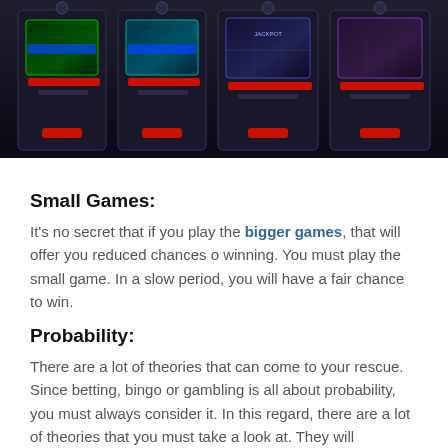[Figure (photo): Row of illuminated casino slot machines with colorful screens in a dark environment]
Small Games:
It's no secret that if you play the bigger games, that will offer you reduced chances o winning. You must play the small game. In a slow period, you will have a fair chance to win.
Probability:
There are a lot of theories that can come to your rescue. Since betting, bingo or gambling is all about probability, you must always consider it. In this regard, there are a lot of theories that you must take a look at. They will eventually play out in the game and offer you a perception that will certainly assist. In addition to that, you must select the cards with diversity. That's an act backed by the experts.